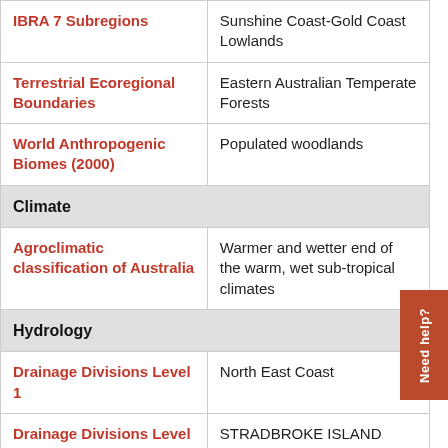| Category | Value |
| --- | --- |
| IBRA 7 Subregions | Sunshine Coast-Gold Coast Lowlands |
| Terrestrial Ecoregional Boundaries | Eastern Australian Temperate Forests |
| World Anthropogenic Biomes (2000) | Populated woodlands |
| Climate |  |
| Agroclimatic classification of Australia | Warmer and wetter end of the warm, wet sub-tropical climates |
| Hydrology |  |
| Drainage Divisions Level 1 | North East Coast |
| Drainage Divisions Level 2 | STRADBROKE ISLAND |
| River Regions | STRADBROKE ISLAND |
| Marine |  |
| Estuary habitat mapping | 20327 Moreton Bay Barrier/back-barrier |